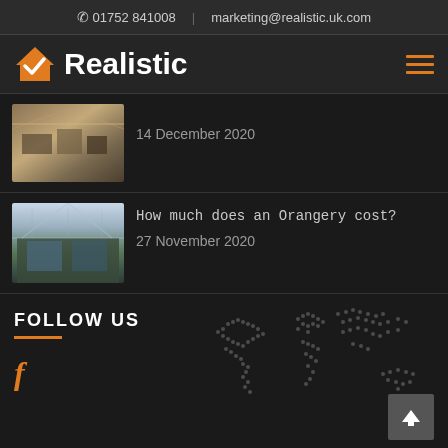✆ 01752 841008 | marketing@realistic.uk.com
[Figure (logo): Realistic logo with orange house/checkmark icon and white bold text 'Realistic']
[Figure (photo): Thumbnail image of a conservatory interior with furniture, dated 14 December 2020]
14 December 2020
[Figure (photo): Thumbnail image of an orangery with glass ceiling and blue furniture]
How much does an Orangery cost?
27 November 2020
FOLLOW US
[Figure (map): Dotted world map graphic in dark tones]
f